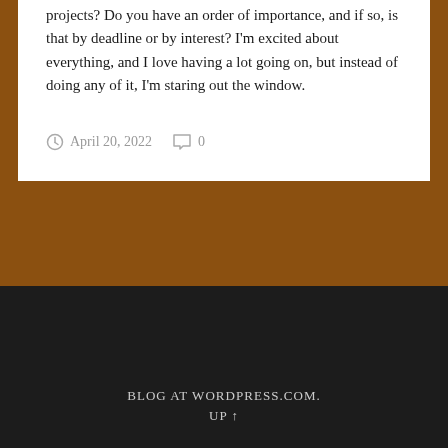projects? Do you have an order of importance, and if so, is that by deadline or by interest? I'm excited about everything, and I love having a lot going on, but instead of doing any of it, I'm staring out the window.
April 20, 2022   0
BLOG AT WORDPRESS.COM.
UP ↑